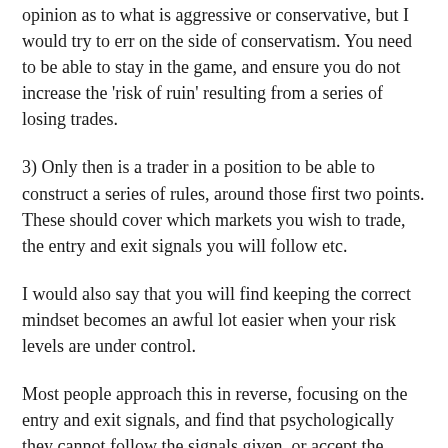opinion as to what is aggressive or conservative, but I would try to err on the side of conservatism. You need to be able to stay in the game, and ensure you do not increase the 'risk of ruin' resulting from a series of losing trades.
3) Only then is a trader in a position to be able to construct a series of rules, around those first two points. These should cover which markets you wish to trade, the entry and exit signals you will follow etc.
I would also say that you will find keeping the correct mindset becomes an awful lot easier when your risk levels are under control.
Most people approach this in reverse, focusing on the entry and exit signals, and find that psychologically they cannot follow the signals given, or accept the periods where there are losing trades and a loss of equity, either from a psychology point of view, or because they do not have sensible risk parameters in place.